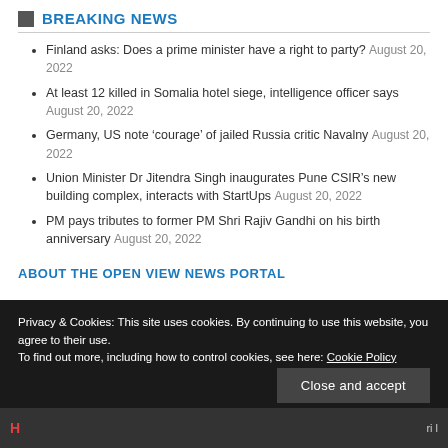BREAKING NEWS
Finland asks: Does a prime minister have a right to party? August 20, 2022
At least 12 killed in Somalia hotel siege, intelligence officer says August 20, 2022
Germany, US note ‘courage’ of jailed Russia critic Navalny August 20, 2022
Union Minister Dr Jitendra Singh inaugurates Pune CSIR’s new building complex, interacts with StartUps August 20, 2022
PM pays tributes to former PM Shri Rajiv Gandhi on his birth anniversary August 20, 2022
ABOUT THE OPEN VIEW NEWS PORTAL
Privacy & Cookies: This site uses cookies. By continuing to use this website, you agree to their use.
To find out more, including how to control cookies, see here: Cookie Policy
Close and accept